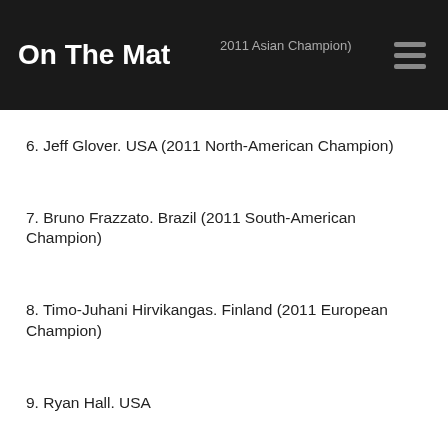On The Mat
6. Jeff Glover. USA (2011 North-American Champion)
7. Bruno Frazzato. Brazil (2011 South-American Champion)
8. Timo-Juhani Hirvikangas. Finland (2011 European Champion)
9. Ryan Hall. USA
10. Rubens “Cobrinha” Charles. Brazil